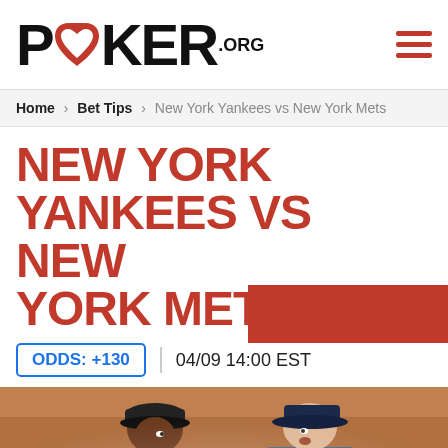[Figure (logo): Poker.org logo with red heart replacing the O in POKER, bold black text, .ORG superscript]
Home > Bet Tips > New York Yankees vs New York Mets
NEW YORK YANKEES VS NEW YORK METS
ODDS: +130  04/09 14:00 EST
[Figure (photo): Two baseball players facing each other, one in Yankees pinstripes, one in dark jersey, illustrated/painted style]